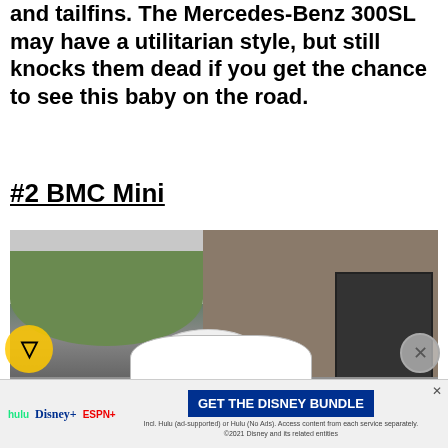and tailfins. The Mercedes-Benz 300SL may have a utilitarian style, but still knocks them dead if you get the chance to see this baby on the road.
#2 BMC Mini
[Figure (photo): A white BMC Mini classic car parked in front of a building with a large barred garage door, with greenery on the left side.]
[Figure (infographic): Advertisement banner for the Disney Bundle featuring Hulu, Disney+, and ESPN+, with a 'GET THE DISNEY BUNDLE' call-to-action button.]